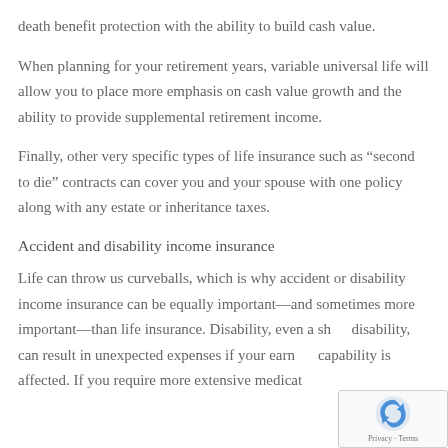death benefit protection with the ability to build cash value.
When planning for your retirement years, variable universal life will allow you to place more emphasis on cash value growth and the ability to provide supplemental retirement income.
Finally, other very specific types of life insurance such as “second to die” contracts can cover you and your spouse with one policy along with any estate or inheritance taxes.
Accident and disability income insurance
Life can throw us curveballs, which is why accident or disability income insurance can be equally important—and sometimes more important—than life insurance. Disability, even a short disability, can result in unexpected expenses if your earning capability is affected. If you require more extensive medical